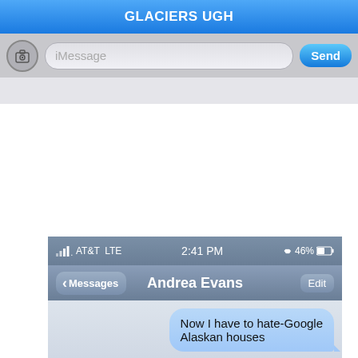[Figure (screenshot): Top portion of iPhone iMessage conversation showing 'GLACIERS UGH' message bubble and iMessage input bar with camera button and Send button]
[Figure (screenshot): iPhone screenshot showing iMessage conversation with Andrea Evans. Messages: 'Now I have to hate-Google Alaskan houses', 'Thanks a lot Andrea.', a photo of Alaskan houses on water, and 'THESE HOUSES ARE ON' (cut off). Status bar shows AT&T LTE, 2:41 PM, 46% battery.]